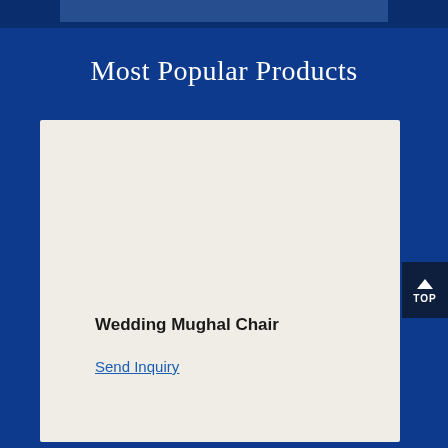Most Popular Products
Wedding Mughal Chair
Send Inquiry